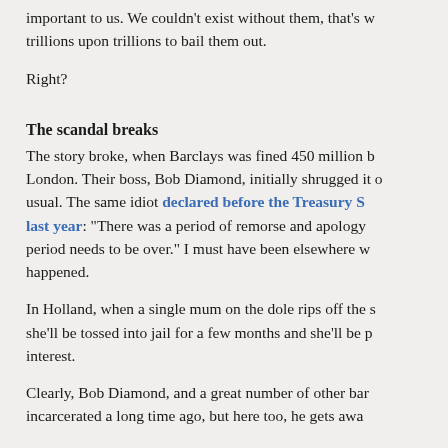important to us. We couldn't exist without them, that's w trillions upon trillions to bail them out.
Right?
The scandal breaks
The story broke, when Barclays was fined 450 million b London. Their boss, Bob Diamond, initially shrugged it o usual. The same idiot declared before the Treasury S last year: “There was a period of remorse and apology period needs to be over.” I must have been elsewhere w happened.
In Holland, when a single mum on the dole rips off the s she'll be tossed into jail for a few months and she'll be p interest.
Clearly, Bob Diamond, and a great number of other bar incarcerated a long time ago, but here too, he gets awa
Now the blame game is beginning. Yesterday Diamond England's second in command Paul Tucker made h the creditworthiness of the banks was being doubted. T Credit Crunch and Tucker proposed a simple solution. H influential Whitehall types.